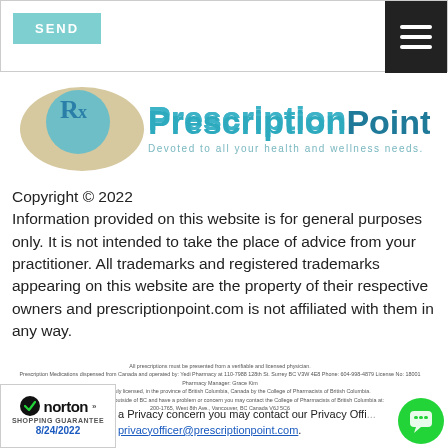[Figure (screenshot): Top navigation bar with teal SEND button on the left and dark hamburger menu icon on the right]
[Figure (logo): PrescriptionPoint logo with Rx symbol in teal/blue circle with beige oval background, text 'PrescriptionPoint' in teal/dark teal, tagline 'Devoted to all your health and wellness needs.']
Copyright © 2022
Information provided on this website is for general purposes only. It is not intended to take the place of advice from your practitioner. All trademarks and registered trademarks appearing on this website are the property of their respective owners and prescriptionpoint.com is not affiliated with them in any way.
All prescriptions must be presented from a verifiable and licensed physician.
Prescription Medications dispensed from Canada and operated by: Yedi Pharmacy at 110-7988 128th St. Surrey BC V3W 4E8 Phone: 604-998-4879 License No: 18001
Pharmacy Manager: Grace Kim
This pharmacy is duly licensed, in the province of British Columbia, Canada by the College of Pharmacists of British Columbia.
If you are a patient from outside of BC and have a problem or concern you may contact the College of Pharmacists of British Columbia at: 200-1765, West 8th Ave., Vancouver, BC Canada V6J 5C6
[Figure (logo): Norton Shopping Guarantee badge with checkmark, dated 8/24/2022]
a Privacy concern you may contact our Privacy Officer at privacyofficer@prescriptionpoint.com.